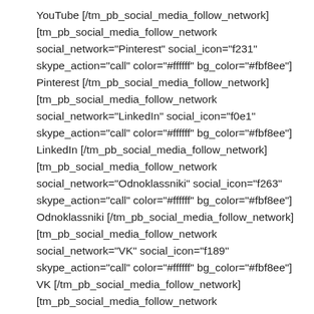YouTube [/tm_pb_social_media_follow_network] [tm_pb_social_media_follow_network social_network="Pinterest" social_icon="f231" skype_action="call" color="#ffffff" bg_color="#fbf8ee"] Pinterest [/tm_pb_social_media_follow_network] [tm_pb_social_media_follow_network social_network="LinkedIn" social_icon="f0e1" skype_action="call" color="#ffffff" bg_color="#fbf8ee"] LinkedIn [/tm_pb_social_media_follow_network] [tm_pb_social_media_follow_network social_network="Odnoklassniki" social_icon="f263" skype_action="call" color="#ffffff" bg_color="#fbf8ee"] Odnoklassniki [/tm_pb_social_media_follow_network] [tm_pb_social_media_follow_network social_network="VK" social_icon="f189" skype_action="call" color="#ffffff" bg_color="#fbf8ee"] VK [/tm_pb_social_media_follow_network] [tm_pb_social_media_follow_network